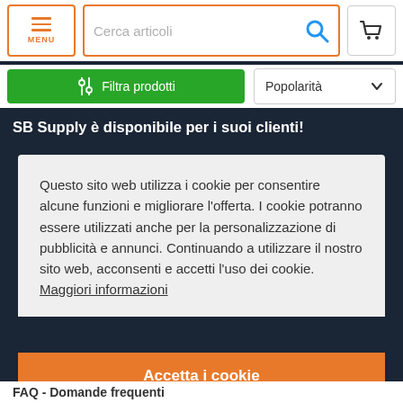[Figure (screenshot): Website header with MENU button, search bar 'Cerca articoli', and cart icon]
[Figure (screenshot): Filter bar with green 'Filtra prodotti' button and 'Popolarità' sort dropdown]
SB Supply è disponibile per i suoi clienti!
Questo sito web utilizza i cookie per consentire alcune funzioni e migliorare l'offerta. I cookie potranno essere utilizzati anche per la personalizzazione di pubblicità e annunci. Continuando a utilizzare il nostro sito web, acconsenti e accetti l'uso dei cookie.  Maggiori informazioni
Accetta i cookie
FAQ - Domande frequenti